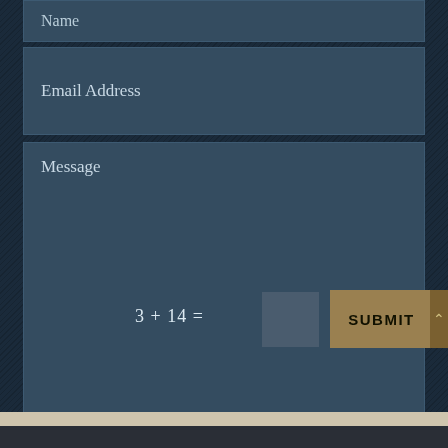Name
Email Address
Message
3 + 14 =
SUBMIT